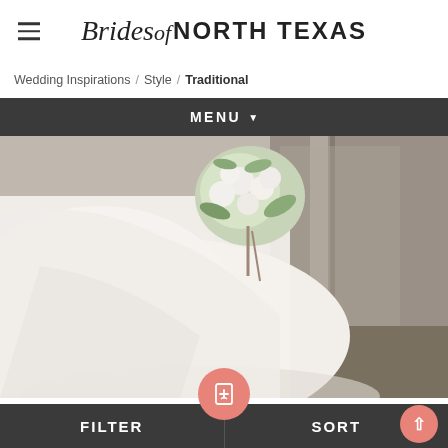Brides of North Texas
Wedding Inspirations / Style / Traditional
MENU ▼
[Figure (photo): Wedding photo showing a bride in a white ballgown dress holding a white floral bouquet, with a rustic background]
Anna Grace Ledbetter & Brandon Terrell
FILTER  SORT